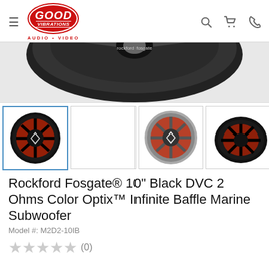[Figure (logo): Good Vibrations Audio Video logo - red oval with white text]
[Figure (photo): Rockford Fosgate marine subwoofer main product image, black speaker top view cropped]
[Figure (photo): Thumbnail 1: black marine subwoofer with red LED glow, front view, selected]
[Figure (photo): Thumbnail 2: blank/white placeholder]
[Figure (photo): Thumbnail 3: silver/chrome marine subwoofer with red LED glow, front view]
[Figure (photo): Thumbnail 4: black marine subwoofer angled side view with red LED]
Rockford Fosgate® 10" Black DVC 2 Ohms Color Optix™ Infinite Baffle Marine Subwoofer
Model #: M2D2-10IB
★★★★★ (0)